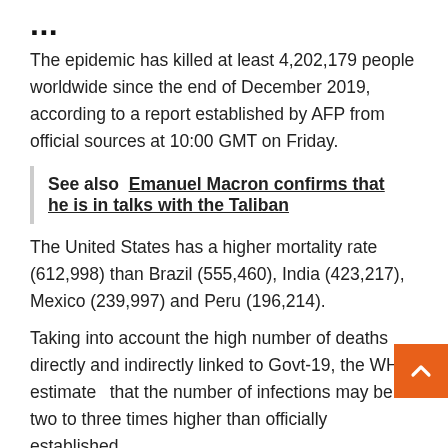...
The epidemic has killed at least 4,202,179 people worldwide since the end of December 2019, according to a report established by AFP from official sources at 10:00 GMT on Friday.
See also  Emanuel Macron confirms that he is in talks with the Taliban
The United States has a higher mortality rate (612,998) than Brazil (555,460), India (423,217), Mexico (239,997) and Peru (196,214).
Taking into account the high number of deaths directly and indirectly linked to Govt-19, the WHO estimates that the number of infections may be two to three times higher than officially established.